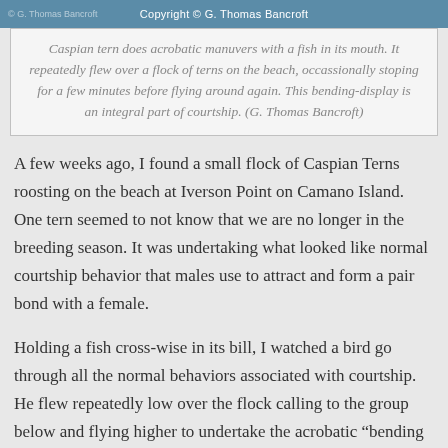Copyright © G. Thomas Bancroft
Caspian tern does acrobatic manuvers with a fish in its mouth. It repeatedly flew over a flock of terns on the beach, occassionally stoping for a few minutes before flying around again. This bending-display is an integral part of courtship. (G. Thomas Bancroft)
A few weeks ago, I found a small flock of Caspian Terns roosting on the beach at Iverson Point on Camano Island. One tern seemed to not know that we are no longer in the breeding season. It was undertaking what looked like normal courtship behavior that males use to attract and form a pair bond with a female.
Holding a fish cross-wise in its bill, I watched a bird go through all the normal behaviors associated with courtship. He flew repeatedly low over the flock calling to the group below and flying higher to undertake the acrobatic “bending display” where he twists and turns upside down and side-ways heading